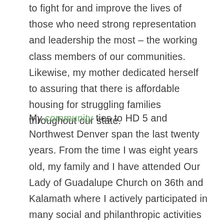to fight for and improve the lives of those who need strong representation and leadership the most – the working class members of our communities. Likewise, my mother dedicated herself to assuring that there is affordable housing for struggling families throughout our state.
My community ties to HD 5 and Northwest Denver span the last twenty years. From the time I was eight years old, my family and I have attended Our Lady of Guadalupe Church on 36th and Kalamath where I actively participated in many social and philanthropic activities throughout the years. Even while I attended Arvada West High School, I volunteered my time after school at Clinic Tepeyac, a non-profit health clinic that was across the street from my church that provides much needed services to those who cannot afford it otherwise. From an early age I saw and felt how unfair and